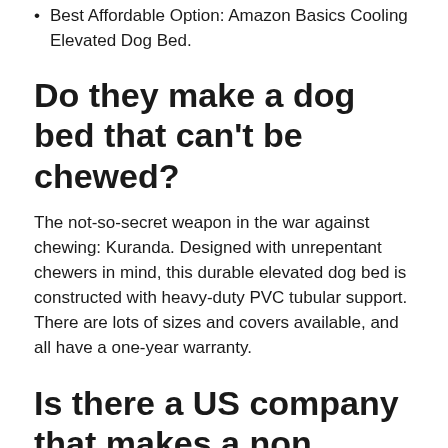Best Affordable Option: Amazon Basics Cooling Elevated Dog Bed.
Do they make a dog bed that can't be chewed?
The not-so-secret weapon in the war against chewing: Kuranda. Designed with unrepentant chewers in mind, this durable elevated dog bed is constructed with heavy-duty PVC tubular support. There are lots of sizes and covers available, and all have a one-year warranty.
Is there a US company that makes a non chewable dog bed?